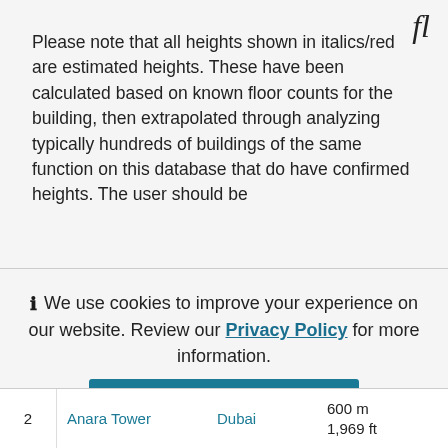fl
Please note that all heights shown in italics/red are estimated heights. These have been calculated based on known floor counts for the building, then extrapolated through analyzing typically hundreds of buildings of the same function on this database that do have confirmed heights. The user should be
ⓘ We use cookies to improve your experience on our website. Review our Privacy Policy for more information.
✓ Allow cookies
| # | Name | City | Height |
| --- | --- | --- | --- |
| 2 | Anara Tower | Dubai | 600 m
1,969 ft |